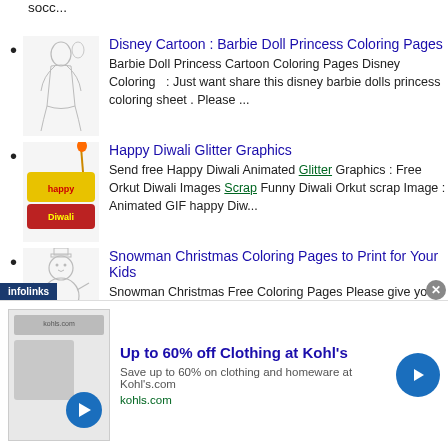socc...
Disney Cartoon : Barbie Doll Princess Coloring Pages — Barbie Doll Princess Cartoon Coloring Pages Disney Coloring : Just want share this disney barbie dolls princess coloring sheet . Please ...
Happy Diwali Glitter Graphics — Send free Happy Diwali Animated Glitter Graphics : Free Orkut Diwali Images Scrap Funny Diwali Orkut scrap Image : Animated GIF happy Diw...
Snowman Christmas Coloring Pages to Print for Your Kids — Snowman Christmas Free Coloring Pages Please give your comment about this colori...
[Figure (screenshot): Advertisement banner: Up to 60% off Clothing at Kohl's - Save up to 60% on clothing and homeware at Kohls.com, kohls.com, with infolinks badge and close button]